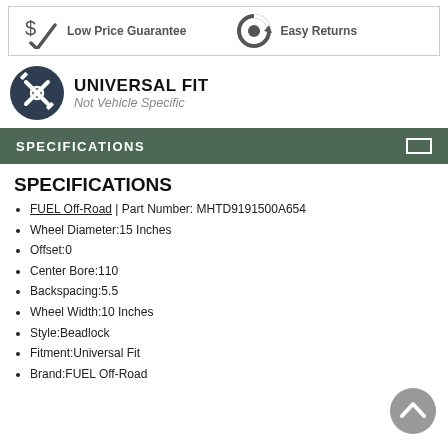[Figure (infographic): Top banner with Low Price Guarantee (dollar sign with checkmark icon) and Easy Returns (circular arrow icon)]
[Figure (logo): Universal Fit logo: dark circle with crossed wrench and screwdriver, text UNIVERSAL FIT and Not Vehicle Specific]
SPECIFICATIONS
SPECIFICATIONS
FUEL Off-Road | Part Number: MHTD9191500A654
Wheel Diameter:15 Inches
Offset:0
Center Bore:110
Backspacing:5.5
Wheel Width:10 Inches
Style:Beadlock
Fitment:Universal Fit
Brand:FUEL Off-Road